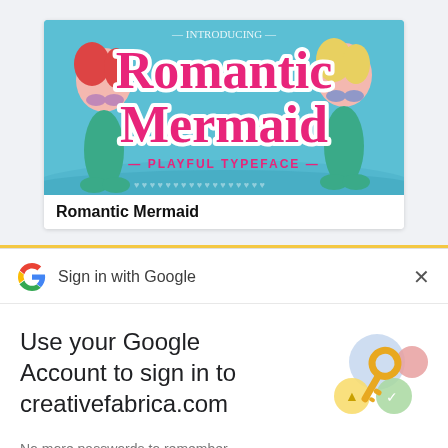[Figure (illustration): Romantic Mermaid playful typeface product banner with two mermaid characters on a teal/blue background, with large pink text reading 'Romantic Mermaid' and subtitle '- PLAYFUL TYPEFACE -']
Romantic Mermaid
[Figure (logo): Google 'G' logo in multicolor (red, yellow, green, blue)]
Sign in with Google
×
Use your Google Account to sign in to creativefabrica.com
No more passwords to remember.
Signing in is fast, simple and secure.
[Figure (illustration): Google sign-in key illustration with a golden key, colored circles and security icons]
Continue